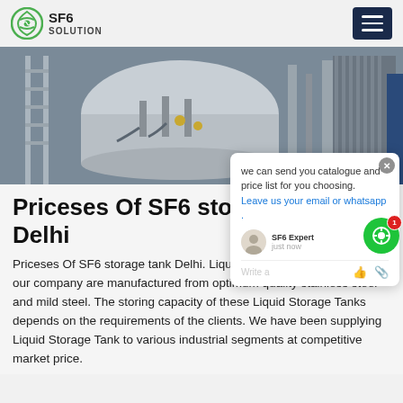SF6 SOLUTION
[Figure (photo): Industrial SF6 storage tank equipment, pipes and fittings in a facility, with 'ina' text visible in orange on the right side]
we can send you catalogue and price list for you choosing. Leave us your email or whatsapp . SF6 Expert  just now  Write a
Priceses Of SF6 storage tank Delhi
Priceses Of SF6 storage tank Delhi. Liquid Storage Tanks supplied by our company are manufactured from optimum quality stainless steel and mild steel. The storing capacity of these Liquid Storage Tanks depends on the requirements of the clients. We have been supplying Liquid Storage Tank to various industrial segments at competitive market price.